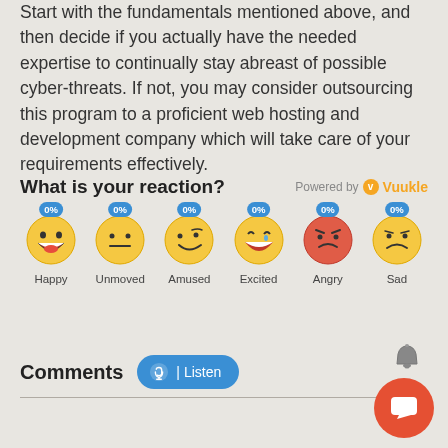Start with the fundamentals mentioned above, and then decide if you actually have the needed expertise to continually stay abreast of possible cyber-threats. If not, you may consider outsourcing this program to a proficient web hosting and development company which will take care of your requirements effectively.
What is your reaction?
[Figure (infographic): Reaction widget with 6 emoji options: Happy 0%, Unmoved 0%, Amused 0%, Excited 0%, Angry 0%, Sad 0%. Powered by Vuukle.]
Comments
[Figure (infographic): Listen button and notification/chat FAB button]